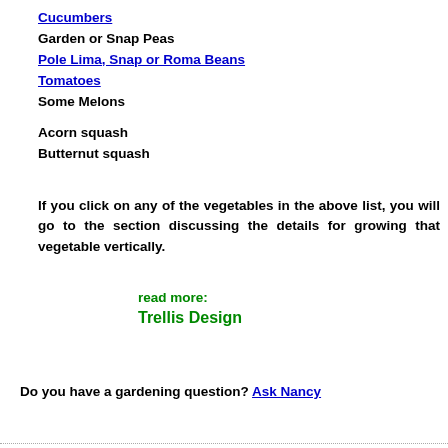Cucumbers
Garden or Snap Peas
Pole Lima, Snap or Roma Beans
Tomatoes
Some Melons
Acorn squash
Butternut squash
If you click on any of the vegetables in the above list, you will go to the section discussing the details for growing that vegetable vertically.
read more:
Trellis Design
Do you have a gardening question? Ask Nancy